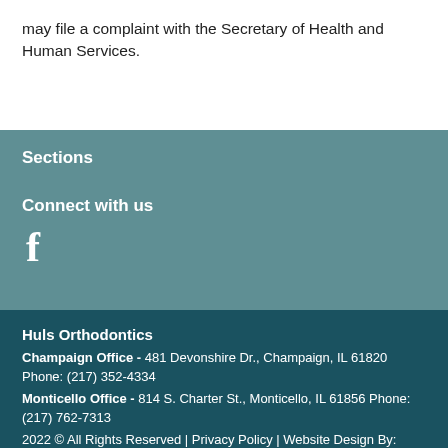may file a complaint with the Secretary of Health and Human Services.
Sections
Connect with us
[Figure (logo): Facebook logo icon (white 'f' on teal background)]
Huls Orthodontics
Champaign Office - 481 Devonshire Dr., Champaign, IL 61820 Phone: (217) 352-4334
Monticello Office - 814 S. Charter St., Monticello, IL 61856 Phone: (217) 762-7313
2022 © All Rights Reserved | Privacy Policy | Website Design By: Intrado | Login